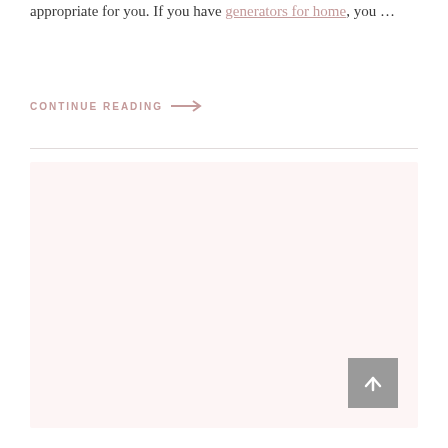appropriate for you. If you have generators for home, you ...
CONTINUE READING →
[Figure (other): Large light pink/cream colored image placeholder block filling the lower portion of the page, with a grey 'back to top' arrow button in the bottom right corner.]